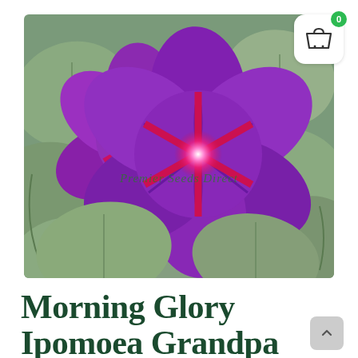[Figure (photo): Close-up photo of two large vivid purple morning glory flowers (Ipomoea) with deep magenta-red star-shaped centers glowing brightly, surrounded by large rounded green leaves. A watermark reads 'Premier Seeds Direct' in green text across the center of the image.]
Morning Glory Ipomoea Grandpa Otts